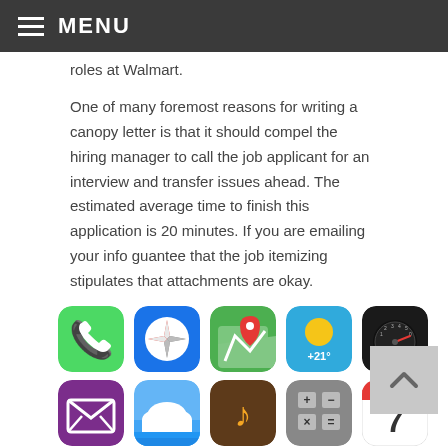MENU
roles at Walmart.
One of many foremost reasons for writing a canopy letter is that it should compel the hiring manager to call the job applicant for an interview and transfer issues ahead. The estimated average time to finish this application is 20 minutes. If you are emailing your info guantee that the job itemizing stipulates that attachments are okay.
[Figure (screenshot): Grid of iOS-style app icons: Row 1: Phone (green), Safari/Compass (blue/white), Maps (green/road with red pin), Weather (+21°, yellow sun on blue), Speedometer (black). Row 2: Mail/envelope (purple), Cloud (blue/white), Music note (brown/orange), Calculator (gray), Calendar showing Sunday 7 (white/red). Row 3 (partial): 3 partially visible icons.]